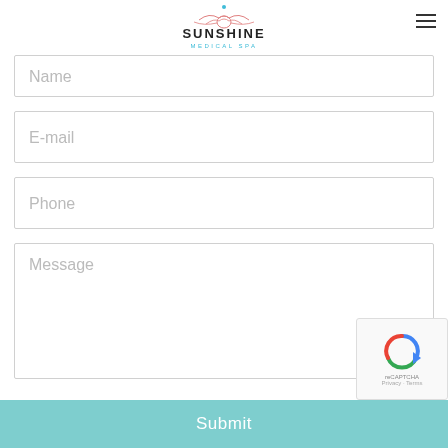[Figure (logo): Sunshine Medical Spa logo with decorative flourish and teal/pink text]
Name
E-mail
Phone
Message
Submit